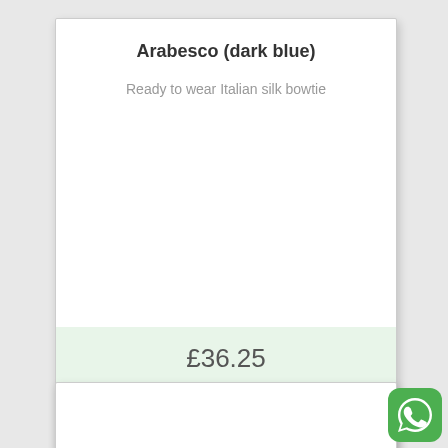Arabesco (dark blue)
Ready to wear Italian silk bowtie
£36.25
More details
[Figure (logo): WhatsApp logo icon — green rounded square with white phone handset in speech bubble]